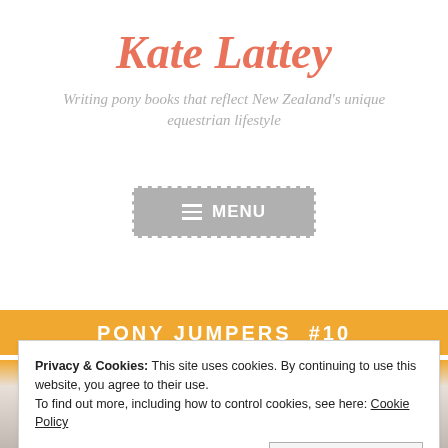Kate Lattey
Writing pony books that reflect New Zealand's unique equestrian lifestyle
[Figure (other): Menu button with hamburger icon and text MENU on a grey background with dashed white border]
[Figure (other): Orange decorative banner with text PONY JUMPERS #10 in white bold letters]
Privacy & Cookies: This site uses cookies. By continuing to use this website, you agree to their use.
To find out more, including how to control cookies, see here: Cookie Policy
Close and accept